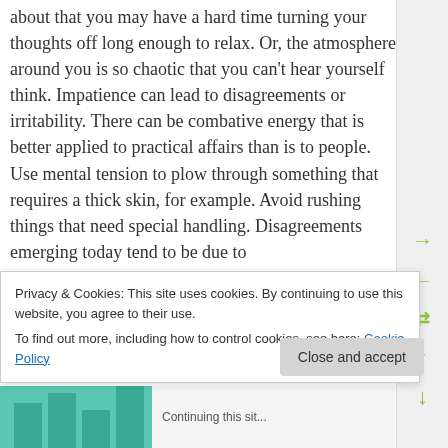about that you may have a hard time turning your thoughts off long enough to relax. Or, the atmosphere around you is so chaotic that you can't hear yourself think. Impatience can lead to disagreements or irritability. There can be combative energy that is better applied to practical affairs than is to people. Use mental tension to plow through something that requires a thick skin, for example. Avoid rushing things that need special handling. Disagreements emerging today tend to be due to rushing and impatience more than anything
[Figure (other): Side navigation bar with green arrow icons (next, previous, shuffle, up, down)]
Privacy & Cookies: This site uses cookies. By continuing to use this website, you agree to their use.
To find out more, including how to control cookies, see here: Cookie Policy
[Figure (other): Close and accept button for cookie banner]
[Figure (illustration): Teal decorative bar graphic at the bottom of the page with some text]